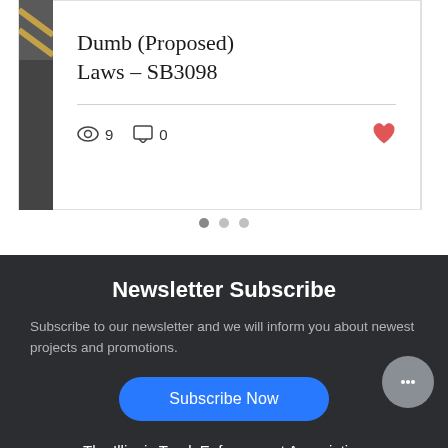Dumb (Proposed) Laws – SB3098
9 views  0 comments  heart
[Figure (other): Carousel pagination dots (3 dots)]
Newsletter Subscribe
Subscribe to our newsletter and we will inform you about newest projects and promotions.
Subscribe Now
The Illinois Truck Enforcement Association is a registered 501c3 not-for-profit with the IRS. EIN #27-1533858